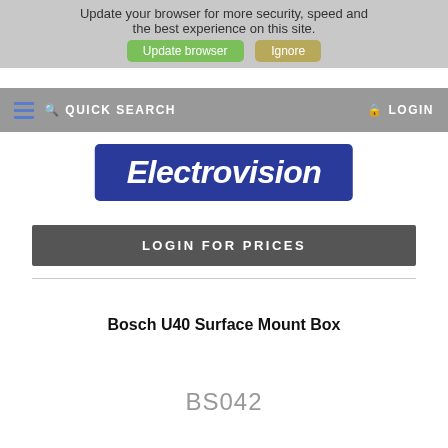Update your browser for more security, speed and the best experience on this site. Update browser | Ignore
QUICK SEARCH | LOGIN
[Figure (logo): Electrovision logo — white italic text on blue rounded rectangle background]
LOGIN FOR PRICES
Bosch U40 Surface Mount Box
BS042